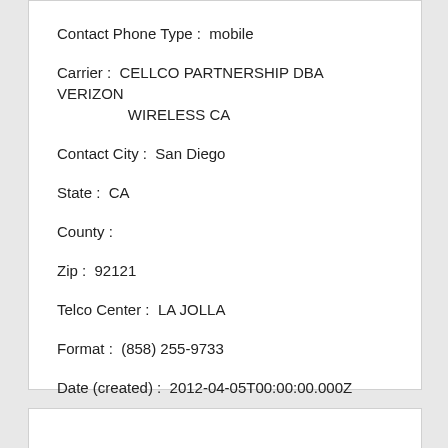Contact Phone Type:  mobile
Carrier:  CELLCO PARTNERSHIP DBA VERIZON WIRELESS CA
Contact City:  San Diego
State:  CA
County:
Zip:  92121
Telco Center:  LA JOLLA
Format:  (858) 255-9733
Date (created):  2012-04-05T00:00:00.000Z